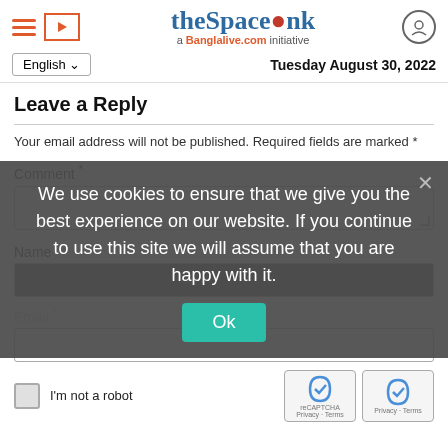theSpaceInk — a Banglalive.com initiative
English   Tuesday August 30, 2022
Leave a Reply
Your email address will not be published. Required fields are marked *
Comment *
Name *
Email *
We use cookies to ensure that we give you the best experience on our website. If you continue to use this site we will assume that you are happy with it.
Ok
I'm not a robot
reCAPTCHA
Privacy - Terms